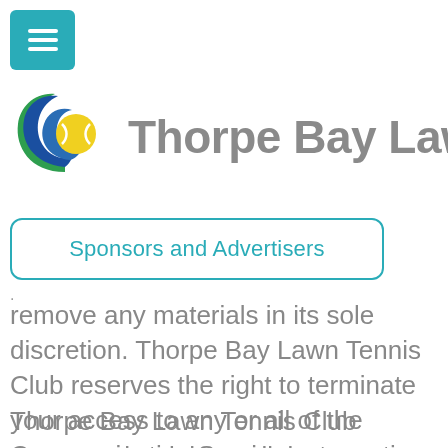[Figure (logo): Hamburger menu button - teal/cyan square with three white horizontal lines]
[Figure (logo): Thorpe Bay Lawn Tennis Club circular logo with green, blue, and yellow swoosh design]
Thorpe Bay Law
Sponsors and Advertisers
remove any materials in its sole discretion. Thorpe Bay Lawn Tennis Club reserves the right to terminate your access to any or all of the Communication Services at any time without notice for any reason whatsoever.
Thorpe Bay Lawn Tennis Club reserves the right at all times to disclose any